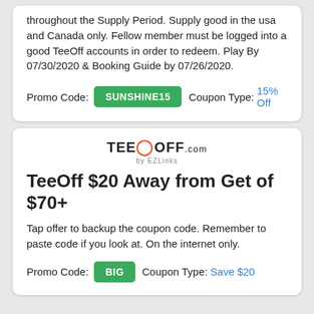throughout the Supply Period. Supply good in the usa and Canada only. Fellow member must be logged into a good TeeOff accounts in order to redeem. Play By 07/30/2020 & Booking Guide by 07/26/2020.
Promo Code: SUNSHINE15   Coupon Type: 15% Off
[Figure (logo): TeeOff.com by EZLinks logo]
TeeOff $20 Away from Get of $70+
Tap offer to backup the coupon code. Remember to paste code if you look at. On the internet only.
Promo Code: BIG   Coupon Type: Save $20